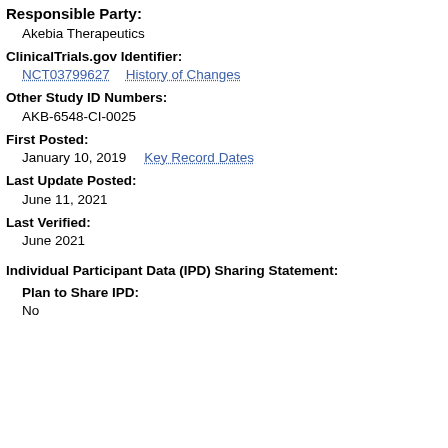Responsible Party:
Akebia Therapeutics
ClinicalTrials.gov Identifier:
NCT03799627    History of Changes
Other Study ID Numbers:
AKB-6548-CI-0025
First Posted:
January 10, 2019    Key Record Dates
Last Update Posted:
June 11, 2021
Last Verified:
June 2021
Individual Participant Data (IPD) Sharing Statement:
Plan to Share IPD:
No